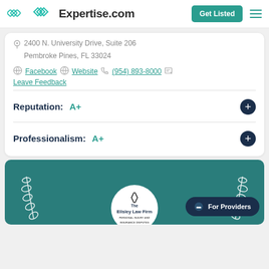Expertise.com
2400 N. University Drive, Suite 206
Pembroke Pines, FL 33024
Facebook  Website  (954) 893-8000  Leave Feedback
Reputation: A+
Professionalism: A+
[Figure (logo): Ellsley Law Firm logo inside a white circle on a teal background with laurel decorations and a For Providers button]